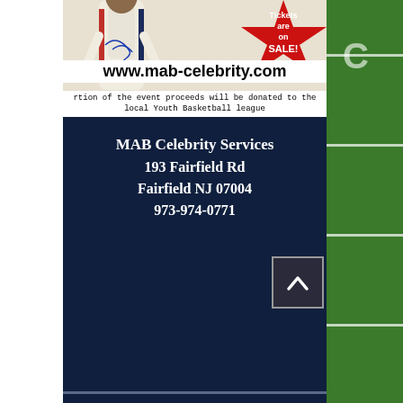[Figure (photo): Top banner showing athlete in white jersey with autograph, red star badge with 'Tickets are on SALE!', website www.mab-celebrity.com, and caption about event proceeds donated to local Youth Basketball league]
MAB Celebrity Services
193 Fairfield Rd
Fairfield NJ 07004
973-974-0771